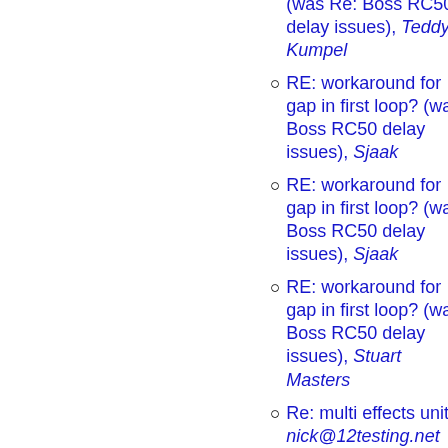Re: Boss RC50 delay issues), Teddy Kumpel
RE: workaround for gap in first loop? (was: Boss RC50 delay issues), Sjaak
RE: workaround for gap in first loop? (was: Boss RC50 delay issues), Sjaak
RE: workaround for gap in first loop? (was: Boss RC50 delay issues), Stuart Masters
Re: multi effects unit, nick@12testing.net
RE: workaround for gap in first loop? (was: Boss RC50 delay issues), Stuart Masters
Re: workaround for gap in first loop? (was: Boss RC50 delay issues), Sean Mormelo
Re: workaround for gap